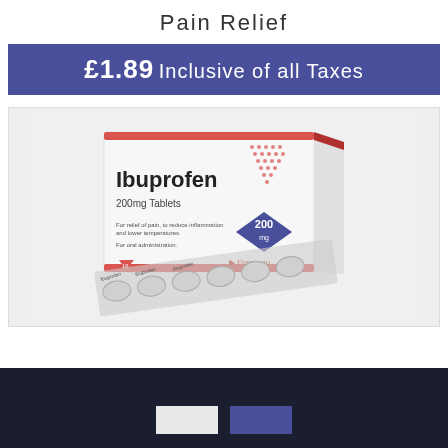Pain Relief
£1.89 Inclusive of all Taxes
[Figure (photo): Box of Ibuprofen 200mg Tablets (Flamingo brand) with a blister pack of tablets in front, on a white background.]